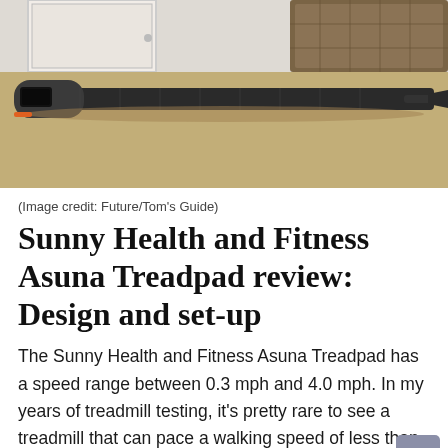[Figure (photo): Side view of Sunny Health and Fitness Asuna Treadpad lying flat on a carpeted floor, with a white door and wicker baskets visible in the background]
(Image credit: Future/Tom's Guide)
Sunny Health and Fitness Asuna Treadpad review: Design and set-up
The Sunny Health and Fitness Asuna Treadpad has a speed range between 0.3 mph and 4.0 mph. In my years of treadmill testing, it's pretty rare to see a treadmill that can pace a walking speed of less than 0.5 mph, making the Treadpad a great option for